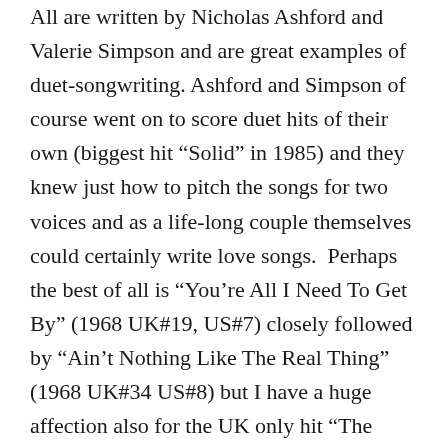All are written by Nicholas Ashford and Valerie Simpson and are great examples of duet-songwriting. Ashford and Simpson of course went on to score duet hits of their own (biggest hit “Solid” in 1985) and they knew just how to pitch the songs for two voices and as a life-long couple themselves could certainly write love songs.  Perhaps the best of all is “You’re All I Need To Get By” (1968 UK#19, US#7) closely followed by “Ain’t Nothing Like The Real Thing” (1968 UK#34 US#8) but I have a huge affection also for the UK only hit “The Onion Song” (1969 #9).  A rather heavy-handed metaphor for the state of the world telling us to “plant love seeds” this is just performed so beautifully and moves along at a great lick.  What was not known at the time is much of the female vocals are actually